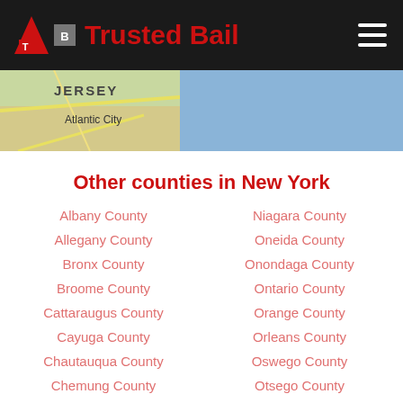Trusted Bail
[Figure (map): Partial map showing JERSEY and Atlantic City labels with road overlays on a light blue background]
Other counties in New York
Albany County
Niagara County
Allegany County
Oneida County
Bronx County
Onondaga County
Broome County
Ontario County
Cattaraugus County
Orange County
Cayuga County
Orleans County
Chautauqua County
Oswego County
Chemung County
Otsego County